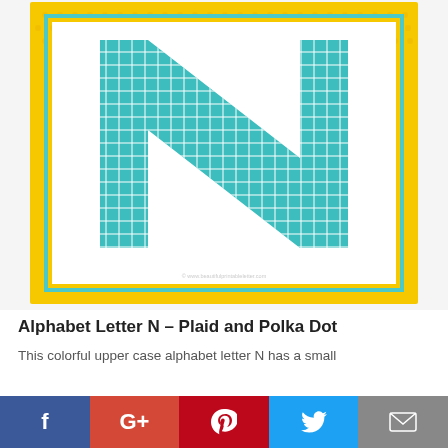[Figure (illustration): Decorative alphabet letter N printed in teal/turquoise plaid pattern on white background, inside a yellow polka-dot bordered frame with a cyan inner border stripe.]
Alphabet Letter N – Plaid and Polka Dot
This colorful upper case alphabet letter N has a small
[Figure (infographic): Social sharing bar with Facebook (f), Google+ (G+), Pinterest (p), Twitter bird, and Email (envelope) icons.]